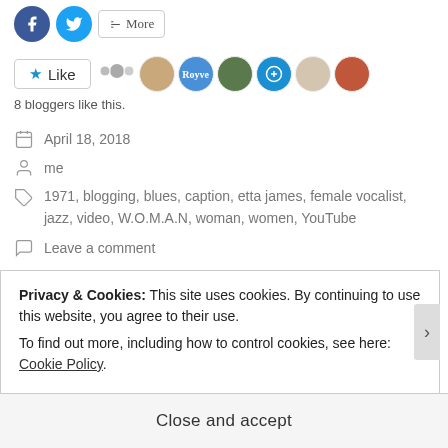[Figure (screenshot): Social share buttons: Facebook (blue circle), Twitter (blue circle), More button]
[Figure (screenshot): Like button with star icon and 6 blogger avatar thumbnails]
8 bloggers like this.
April 18, 2018
me
1971, blogging, blues, caption, etta james, female vocalist, jazz, video, W.O.M.A.N, woman, women, YouTube
Leave a comment
Privacy & Cookies: This site uses cookies. By continuing to use this website, you agree to their use.
To find out more, including how to control cookies, see here: Cookie Policy
Close and accept